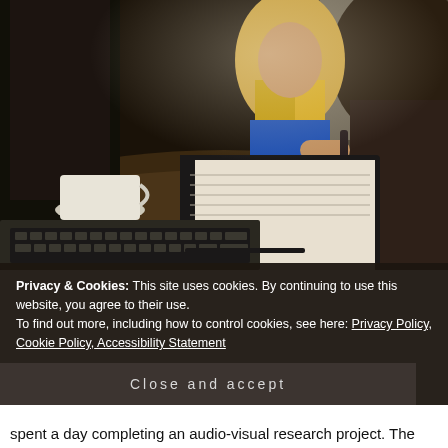[Figure (photo): People sitting around a table in a study/meeting session. A woman with blonde hair holds a pen and writes in a spiral notebook. A coffee cup on a saucer is visible. A laptop keyboard is in the foreground. The scene is warmly lit with natural light from a window in the background.]
Privacy & Cookies: This site uses cookies. By continuing to use this website, you agree to their use.
To find out more, including how to control cookies, see here: Privacy Policy, Cookie Policy, Accessibility Statement
Close and accept
spent a day completing an audio-visual research project. The